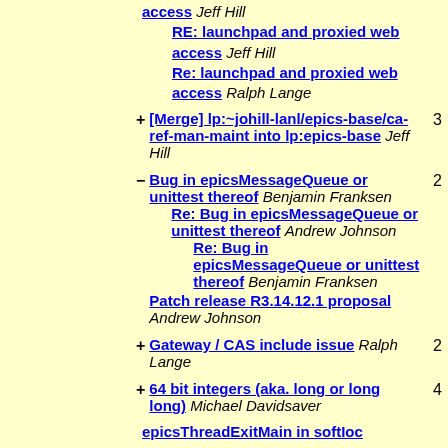access Jeff Hill
  RE: launchpad and proxied web access Jeff Hill
  Re: launchpad and proxied web access Ralph Lange
+ [Merge] lp:~johill-lanl/epics-base/ca-ref-man-maint into lp:epics-base Jeff Hill  3
- Bug in epicsMessageQueue or unittest thereof Benjamin Franksen  2
  Re: Bug in epicsMessageQueue or unittest thereof Andrew Johnson
    Re: Bug in epicsMessageQueue or unittest thereof Benjamin Franksen
  Patch release R3.14.12.1 proposal Andrew Johnson
+ Gateway / CAS include issue Ralph Lange  2
+ 64 bit integers (aka. long or long long) Michael Davidsaver  4
epicsThreadExitMain in softIoc...